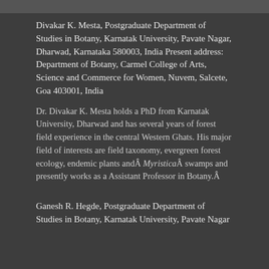Divakar K. Mesta, Postgraduate Department of Studies in Botany, Karnatak University, Pavate Nagar, Dharwad, Karnataka 580003, India Present address: Department of Botany, Carmel College of Arts, Science and Commerce for Women, Nuvem, Salcete, Goa 403001, India
Dr. Divakar K. Mesta holds a PhD from Karnatak University, Dharwad and has several years of forest field experience in the central Western Ghats. His major field of interests are field taxonomy, evergreen forest ecology, endemic plants and Myristica swamps and presently works as a Assistant Professor in Botany.
Ganesh R. Hegde, Postgraduate Department of Studies in Botany, Karnatak University, Pavate Nagar